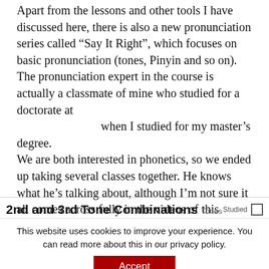Apart from the lessons and other tools I have discussed here, there is also a new pronunciation series called “Say It Right”, which focuses on basic pronunciation (tones, Pinyin and so on). The pronunciation expert in the course is actually a classmate of mine who studied for a doctorate at when I studied for my master’s degree. We are both interested in phonetics, so we ended up taking several classes together. He knows what he’s talking about, although I’m not sure it all comes across fully in the videos of this course. I might return to this pronunciation course later.
2nd and 3rd Tone Combinations Tones Studied
This website uses cookies to improve your experience. You can read more about this in our privacy policy.
Accept
Read more...